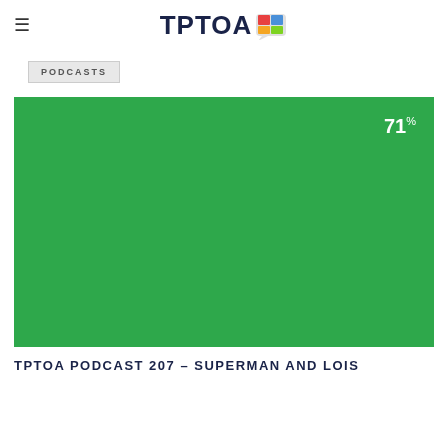≡  TPTOA
PODCASTS
[Figure (photo): Green solid background image with '71%' text in white at top right corner]
TPTOA PODCAST 207 – SUPERMAN AND LOIS